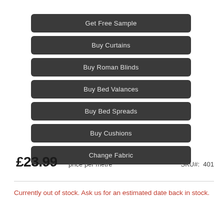Get Free Sample
Buy Curtains
Buy Roman Blinds
Buy Bed Valances
Buy Bed Spreads
Buy Cushions
Change Fabric
£23.99   price per metre   SKU#:  401
Currently out of stock. Ask us for an estimated date back in stock.